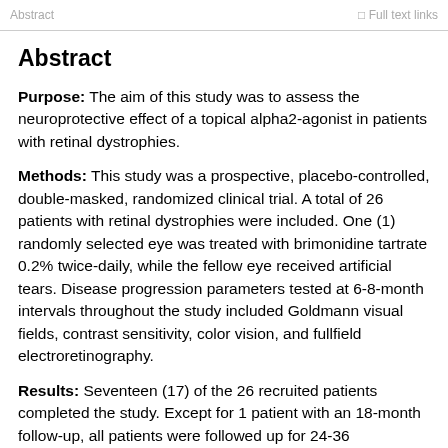Abstract | Full text links
Abstract
Purpose: The aim of this study was to assess the neuroprotective effect of a topical alpha2-agonist in patients with retinal dystrophies.
Methods: This study was a prospective, placebo-controlled, double-masked, randomized clinical trial. A total of 26 patients with retinal dystrophies were included. One (1) randomly selected eye was treated with brimonidine tartrate 0.2% twice-daily, while the fellow eye received artificial tears. Disease progression parameters tested at 6-8-month intervals throughout the study included Goldmann visual fields, contrast sensitivity, color vision, and fullfield electroretinography.
Results: Seventeen (17) of the 26 recruited patients completed the study. Except for 1 patient with an 18-month follow-up, all patients were followed up for 24-36